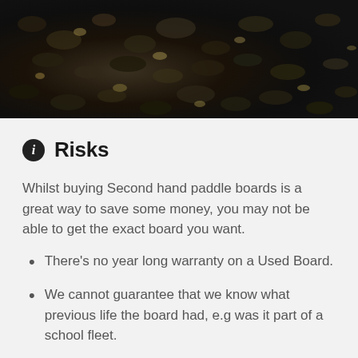[Figure (photo): Close-up photograph of dark gravel and pebbles, mostly dark grey and black with some lighter stones visible]
Risks
Whilst buying Second hand paddle boards is a great way to save some money, you may not be able to get the exact board you want.
There’s no year long warranty on a Used Board.
We cannot guarantee that we know what previous life the board had, e.g was it part of a school fleet.
So based on what you’re saying, it may be